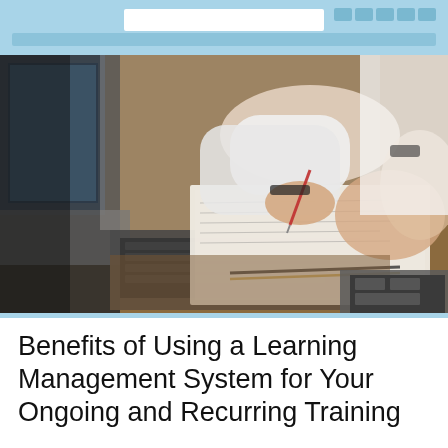[Figure (photo): Two people at a desk with laptops and notebooks, one person writing with a pen on paper, another person with hands visible, a wooden desk surface with pens, in a work/study setting]
Benefits of Using a Learning Management System for Your Ongoing and Recurring Training